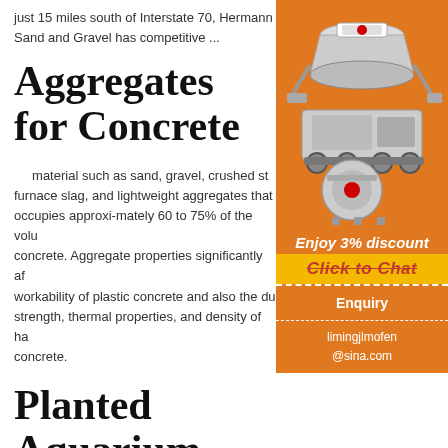just 15 miles south of Interstate 70, Hermann Sand and Gravel has competitive ...
Aggregates for Concrete
material such as sand, gravel, crushed st... furnace slag, and lightweight aggregates that ... occupies approxi-mately 60 to 75% of the volu... concrete. Aggregate properties significantly af... workability of plastic concrete and also the du... strength, thermal properties, and density of ha... concrete.
Planted Aquarium Substrate: Soil, Gravel, and Sand |
[Figure (photo): Advertisement panel with orange background showing industrial machinery (crushers/grinders), with 'Enjoy 3% discount', 'Click to Chat', 'Enquiry', and 'limingjlmofen@sina.com' text.]